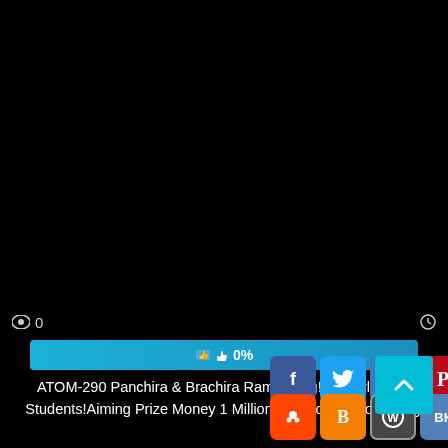[Figure (screenshot): Black video thumbnail area]
👁 0
[Figure (infographic): Cyan/blue progress bar showing 0% with thumbs up icon]
ATOM-290 Panchira & Brachira Rampaging!For Girls Only Students!Aiming Prize Money 1 Million Yen!Roll Up Your Body
[Figure (infographic): Social sharing buttons: Facebook, Twitter, Email, Pinterest, Tumblr, Reddit, Blogger, WordPress, VK, Share. Plus a back-to-top cyan button.]